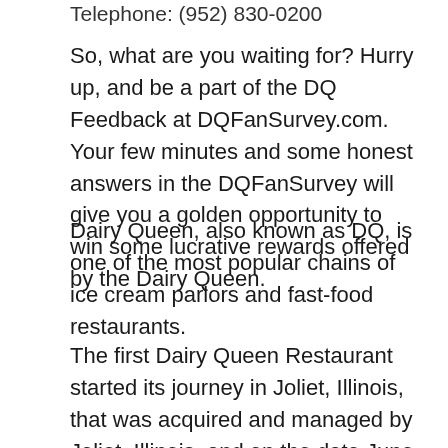Telephone: (952) 830-0200
So, what are you waiting for? Hurry up, and be a part of the DQ Feedback at DQFanSurvey.com. Your few minutes and some honest answers in the DQFanSurvey will give you a golden opportunity to win some lucrative rewards offered by the Dairy Queen.
Dairy Queen, also known as DQ, is one of the most popular chains of ice cream parlors and fast-food restaurants.
The first Dairy Queen Restaurant started its journey in Joliet, Illinois, that was acquired and managed by Joliet, Illinois, and on the date June 22, 1940.